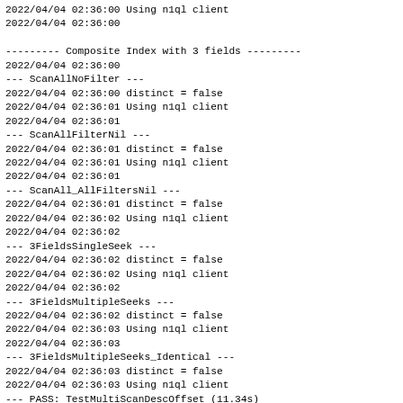2022/04/04 02:36:00 Using n1ql client
2022/04/04 02:36:00

--------- Composite Index with 3 fields ---------
2022/04/04 02:36:00
--- ScanAllNoFilter ---
2022/04/04 02:36:00 distinct = false
2022/04/04 02:36:01 Using n1ql client
2022/04/04 02:36:01
--- ScanAllFilterNil ---
2022/04/04 02:36:01 distinct = false
2022/04/04 02:36:01 Using n1ql client
2022/04/04 02:36:01
--- ScanAll_AllFiltersNil ---
2022/04/04 02:36:01 distinct = false
2022/04/04 02:36:02 Using n1ql client
2022/04/04 02:36:02
--- 3FieldsSingleSeek ---
2022/04/04 02:36:02 distinct = false
2022/04/04 02:36:02 Using n1ql client
2022/04/04 02:36:02
--- 3FieldsMultipleSeeks ---
2022/04/04 02:36:02 distinct = false
2022/04/04 02:36:03 Using n1ql client
2022/04/04 02:36:03
--- 3FieldsMultipleSeeks_Identical ---
2022/04/04 02:36:03 distinct = false
2022/04/04 02:36:03 Using n1ql client
--- PASS: TestMultiScanDescOffset (11.34s)
=== RUN   TestMultiScanDescDistinct
2022/04/04 02:36:03 In SkipTestMultiScanDescDistinct(